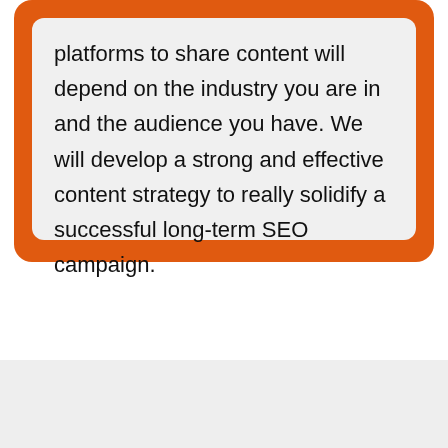platforms to share content will depend on the industry you are in and the audience you have. We will develop a strong and effective content strategy to really solidify a successful long-term SEO campaign.